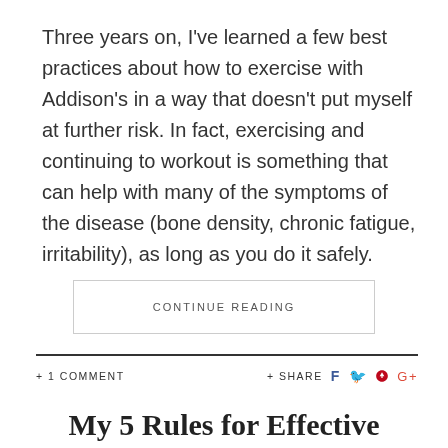Three years on, I've learned a few best practices about how to exercise with Addison's in a way that doesn't put myself at further risk. In fact, exercising and continuing to workout is something that can help with many of the symptoms of the disease (bone density, chronic fatigue, irritability), as long as you do it safely.
CONTINUE READING
+ 1 COMMENT
+ SHARE
My 5 Rules for Effective